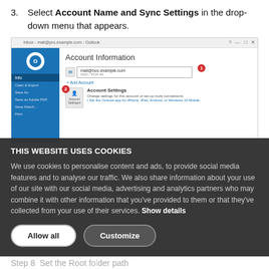3. Select Account Name and Sync Settings in the drop-down menu that appears.
[Figure (screenshot): Outlook Account Information screen showing numbered steps: (1) email account input field and (2) Account Settings option with dropdown arrow. Left nav is blue with Outlook icon and menu items (Info, Open & Export, Save As, Save as Adobe PDF, Save Attachments, Print).]
THIS WEBSITE USES COOKIES
We use cookies to personalise content and ads, to provide social media features and to analyse our traffic. We also share information about your use of our site with our social media, advertising and analytics partners who may combine it with other information that you've provided to them or that they've collected from your use of their services. Show details
Allow all   Customize
Step 8  Set the Root folder path